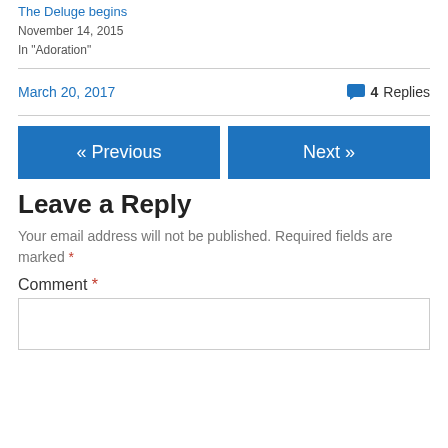The Deluge begins
November 14, 2015
In "Adoration"
March 20, 2017   4 Replies
« Previous
Next »
Leave a Reply
Your email address will not be published. Required fields are marked *
Comment *